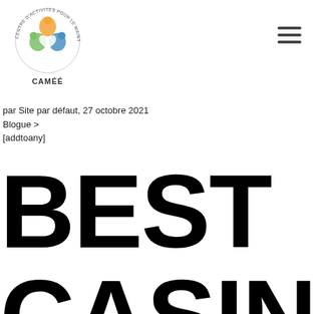[Figure (logo): CAMÉÉ logo — circular emblem with three overlapping figures (orange, green, blue) inside a circular text band reading 'CENTRE D'ACTIVITÉS POUR LE MAINTIEN DE L'ÉQUILIBRE ÉMOTIONNEL', with text 'CAMÉÉ' below]
[Figure (other): Hamburger menu icon — three horizontal lines]
par Site par défaut,  27 octobre 2021
Blogue >
[addtoany]
BEST CASIN